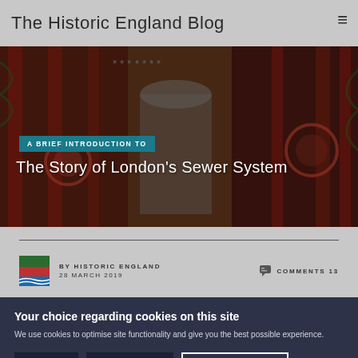The Historic England Blog
[Figure (photo): Interior of an ornate Victorian pumping station with decorative ironwork, columns, and industrial machinery in rich red and green tones]
A BRIEF INTRODUCTION TO
The Story of London's Sewer System
BY HISTORIC ENGLAND
28 MARCH 2019
COMMENTS 13
Your choice regarding cookies on this site
We use cookies to optimise site functionality and give you the best possible experience.
Accept
I do not accept
Cookie Preferences